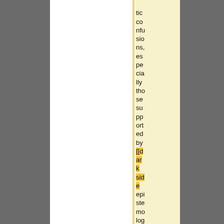tic co nfu sio ns, es pe cia lly tho se su pp ort ed by [[dark side epi ste mo log
tic co nfu sio ns, es pe cia lly tho se su pp ort ed by [[anti- epi ste mo log y]].